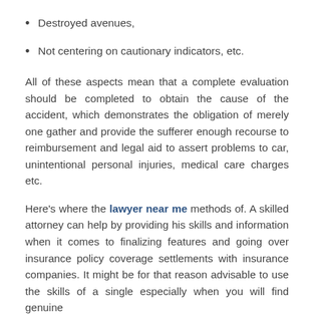Destroyed avenues,
Not centering on cautionary indicators, etc.
All of these aspects mean that a complete evaluation should be completed to obtain the cause of the accident, which demonstrates the obligation of merely one gather and provide the sufferer enough recourse to reimbursement and legal aid to assert problems to car, unintentional personal injuries, medical care charges etc.
Here's where the lawyer near me methods of. A skilled attorney can help by providing his skills and information when it comes to finalizing features and going over insurance policy coverage settlements with insurance companies. It might be for that reason advisable to use the skills of a single especially when you will find genuine